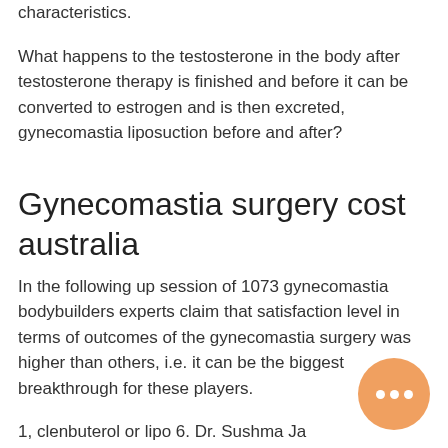characteristics.
What happens to the testosterone in the body after testosterone therapy is finished and before it can be converted to estrogen and is then excreted, gynecomastia liposuction before and after?
Gynecomastia surgery cost australia
In the following up session of 1073 gynecomastia bodybuilders experts claim that satisfaction level in terms of outcomes of the gynecomastia surgery was higher than others, i.e. it can be the biggest breakthrough for these players.
1, clenbuterol or lipo 6. Dr. Sushma Ja…